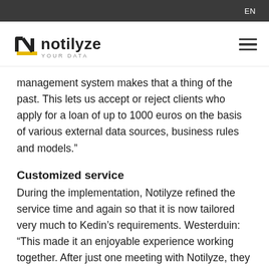EN
[Figure (logo): Notilyze YOUR DATA logo with stylized N in black and yellow]
management system makes that a thing of the past. This lets us accept or reject clients who apply for a loan of up to 1000 euros on the basis of various external data sources, business rules and models.”
Customized service
During the implementation, Notilyze refined the service time and again so that it is now tailored very much to Kedin’s requirements. Westerduin: “This made it an enjoyable experience working together. After just one meeting with Notilyze, they